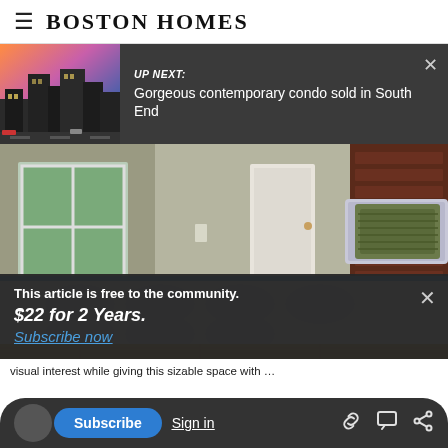Boston Homes
UP NEXT: Gorgeous contemporary condo sold in South End
[Figure (photo): Bedroom interior with wooden headboard, patterned pillows, white duvet, window with green outdoor view, and wooden floor]
This article is free to the community.
$22 for 2 Years.
Subscribe now
Subscribe  Sign in
visual interest while giving this sizable space with …